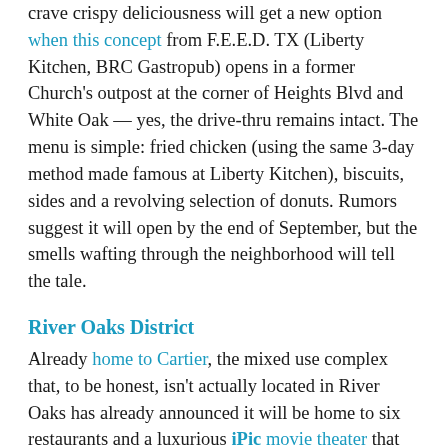crave crispy deliciousness will get a new option when this concept from F.E.E.D. TX (Liberty Kitchen, BRC Gastropub) opens in a former Church's outpost at the corner of Heights Blvd and White Oak — yes, the drive-thru remains intact. The menu is simple: fried chicken (using the same 3-day method made famous at Liberty Kitchen), biscuits, sides and a revolving selection of donuts. Rumors suggest it will open by the end of September, but the smells wafting through the neighborhood will tell the tale.
River Oaks District
Already home to Cartier, the mixed use complex that, to be honest, isn't actually located in River Oaks has already announced it will be home to six restaurants and a luxurious iPic movie theater that will start making their debuts in November. Two Dallas-based will each have two